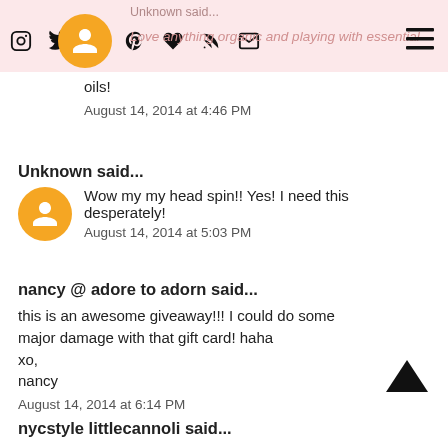Unknown said... Love anything organic and playing with essential oils!
Love anything organic and playing with essential oils!
August 14, 2014 at 4:46 PM
Unknown said...
Wow my my head spin!! Yes! I need this desperately!
August 14, 2014 at 5:03 PM
nancy @ adore to adorn said...
this is an awesome giveaway!!! I could do some major damage with that gift card! haha
xo,
nancy
August 14, 2014 at 6:14 PM
nycstyle littlecannoli said...